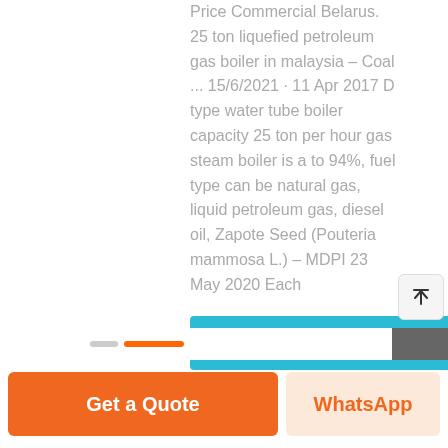Price Commercial Belarus. 25 ton liquefied petroleum gas boiler in malaysia – Coal ... 15/6/2021 · 11 Apr 2017 D type water tube boiler capacity 25 ton per hour gas steam boiler is a to 94%, fuel type can be natural gas, liquid petroleum gas, diesel oil, Zapote Seed (Pouteria mammosa L.) – MDPI 23 May 2020 Each
[Figure (other): Learn More button (cyan/teal colored CTA button)]
[Figure (other): Scroll to top button with upward arrow icon]
[Figure (other): Navigation dots/pagination bar at bottom with orange active dot and gray block]
[Figure (other): Footer action bar with Get a Quote (orange) and WhatsApp (peach) buttons]